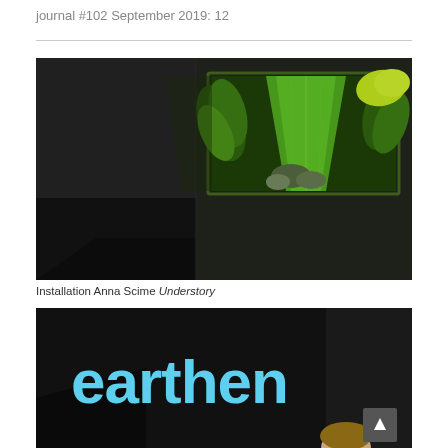journal #102 September 2019: 12
[Figure (photo): Dark room installation with video projection on wall corner showing lush green ferns and plants in a tunnel-like receding pattern. The room is very dark with the projection providing the main light source.]
Installation Anna Scime Understory
[Figure (photo): Partial view of an exhibition space showing large light blue text reading 'earthen' on a dark background, with a person partially visible at the bottom right.]